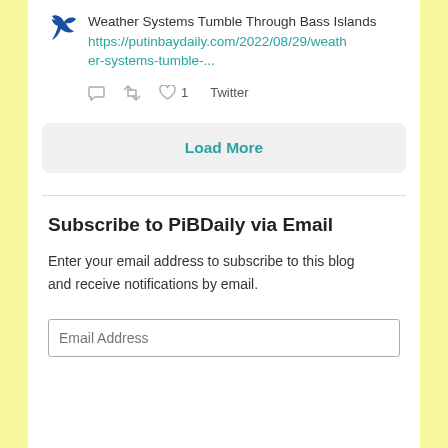Weather Systems Tumble Through Bass Islands https://putinbaydaily.com/2022/08/29/weather-systems-tumble-...
reply retweet like 1 Twitter
Load More
Subscribe to PiBDaily via Email
Enter your email address to subscribe to this blog and receive notifications by email.
Email Address